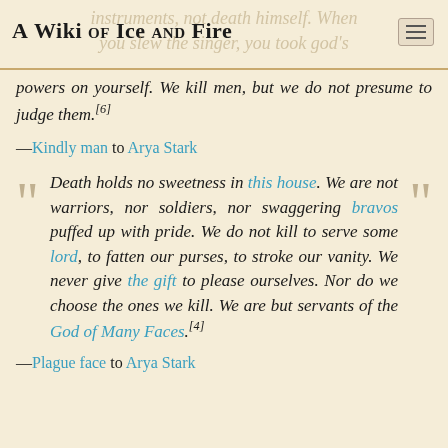A Wiki of Ice and Fire
instruments, not death himself. When you slew the singer, you took god's powers on yourself. We kill men, but we do not presume to judge them.[6]
—Kindly man to Arya Stark
Death holds no sweetness in this house. We are not warriors, nor soldiers, nor swaggering bravos puffed up with pride. We do not kill to serve some lord, to fatten our purses, to stroke our vanity. We never give the gift to please ourselves. Nor do we choose the ones we kill. We are but servants of the God of Many Faces.[4]
—Plague face to Arya Stark